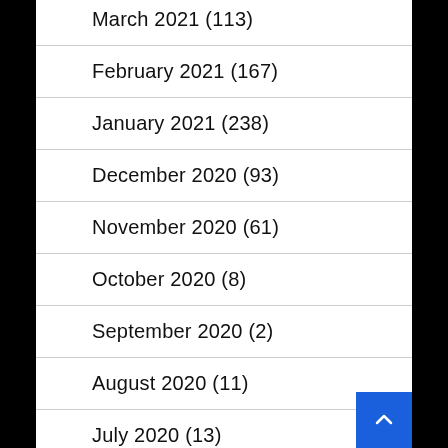March 2021 (113)
February 2021 (167)
January 2021 (238)
December 2020 (93)
November 2020 (61)
October 2020 (8)
September 2020 (2)
August 2020 (11)
July 2020 (13)